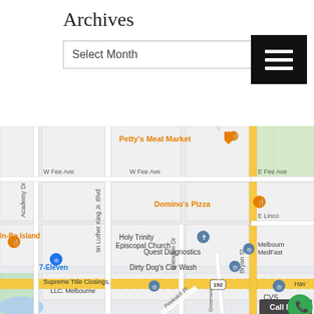Archives
Select Month
[Figure (map): Google Maps street map of Melbourne area showing streets: Martin Luther King Jr. Blvd, Academy Dr, Glendon Dr, Bryan St, Greenway, W Fee Ave, E Fee Ave, E Lincoln; landmarks: Petty's Meat Market, Domino's Pizza, Holy Trinity Episcopal Church, Quest Diagnostics, Dirty Dog's Car Wash, in-Bo Island, 7-Eleven, Supreme Title Closings LLC Melbourne, Melbourne MedFast, CVS, and a Call Now button with phone icon.]